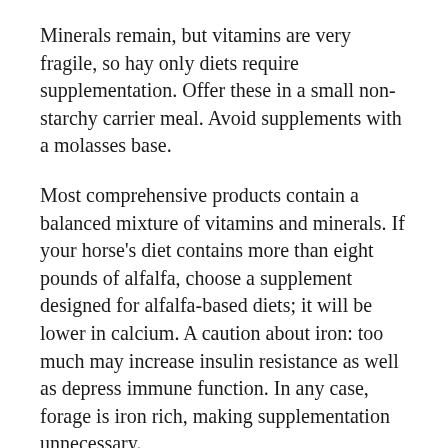Minerals remain, but vitamins are very fragile, so hay only diets require supplementation. Offer these in a small non-starchy carrier meal. Avoid supplements with a molasses base.
Most comprehensive products contain a balanced mixture of vitamins and minerals. If your horse's diet contains more than eight pounds of alfalfa, choose a supplement designed for alfalfa-based diets; it will be lower in calcium. A caution about iron: too much may increase insulin resistance as well as depress immune function. In any case, forage is iron rich, making supplementation unnecessary.
RULE #7: Add or increase exercise. Exercise reduces insulin resistance, builds muscle mass